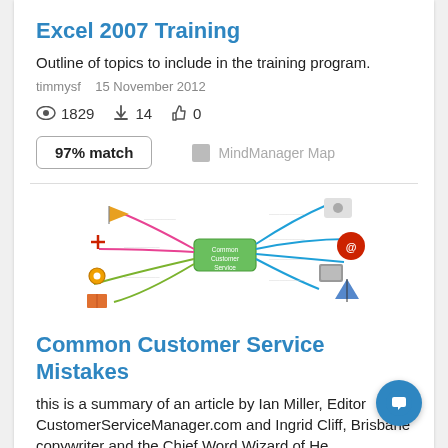Excel 2007 Training
Outline of topics to include in the training program.
timmysf   15 November 2012
1829  14  0
97% match
MindManager Map
[Figure (illustration): Mind map thumbnail showing 'Common Customer Service' at center with colorful branches extending outward, with small icons at branch ends]
Common Customer Service Mistakes
this is a summary of an article by Ian Miller, Editor CustomerServiceManager.com and Ingrid Cliff, Brisbane copywriter and the Chief Word Wizard of He...
tfahmy666   28 June 2013